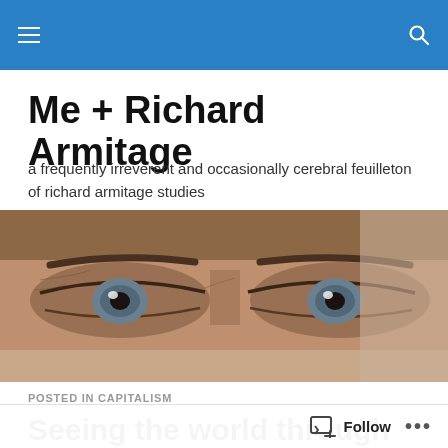Me + Richard Armitage [navigation bar]
Me + Richard Armitage
a frequently irreverent and occasionally cerebral feuilleton of richard armitage studies
[Figure (photo): Close-up photograph of a man's eyes, showing detailed skin texture and grey-blue eyes against a neutral background]
POSTED IN CAPITALISM
Seeing the world through fan-colored glasses, cont…
Follow